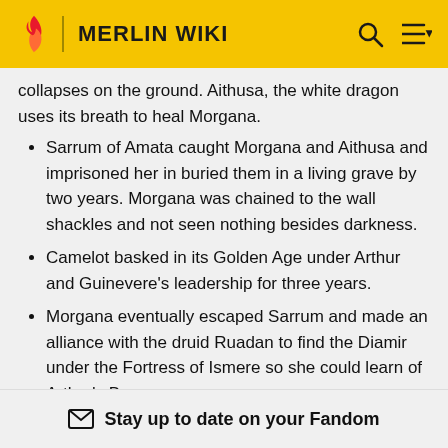MERLIN WIKI
collapses on the ground. Aithusa, the white dragon uses its breath to heal Morgana.
Sarrum of Amata caught Morgana and Aithusa and imprisoned her in buried them in a living grave by two years. Morgana was chained to the wall shackles and not seen nothing besides darkness.
Camelot basked in its Golden Age under Arthur and Guinevere's leadership for three years.
Morgana eventually escaped Sarrum and made an alliance with the druid Ruadan to find the Diamir under the Fortress of Ismere so she could learn of Arthur's Bane.
Stay up to date on your Fandom